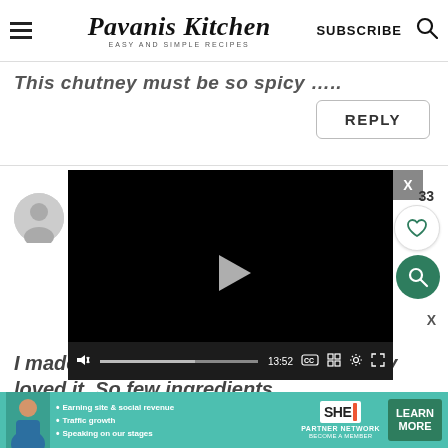Pavanis Kitchen — EASY AND SIMPLE RECIPES | SUBSCRIBE
This chutney must be so spicy ….
REPLY
[Figure (screenshot): Embedded video player with black background showing play button, progress bar at 60%, time 13:52, and controls including mute, CC, grid, settings, and fullscreen buttons]
[Figure (photo): Gray circular avatar/profile picture placeholder]
am
33
I made the same chutney and absolutely loved it. So few ingredients
[Figure (infographic): SHE Partner Network advertisement banner with woman photo, bullet points: Earning site & social revenue, Traffic growth, Speaking on our stages; LEARN MORE button]